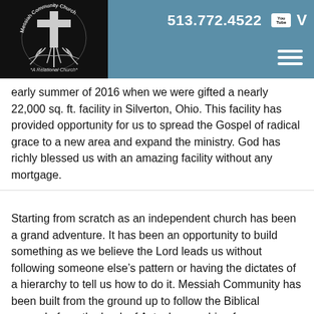[Figure (logo): Messiah Community Church logo on black background with cross and tree roots, subtitle 'A Relational Church*']
513.772.4522
early summer of 2016 when we were gifted a nearly 22,000 sq. ft. facility in Silverton, Ohio.  This facility has provided opportunity for us to spread the Gospel of radical grace to a new area and expand the ministry.  God has richly blessed us with an amazing facility without any mortgage.
Starting from scratch as an independent church has been a grand adventure. It has been an opportunity to build something as we believe the Lord leads us without following someone else’s pattern or having the dictates of a hierarchy to tell us how to do it. Messiah Community has been built from the ground up to follow the Biblical example from the book of Acts.  In searching for our identity so we could answer those who ask, “What kind of church